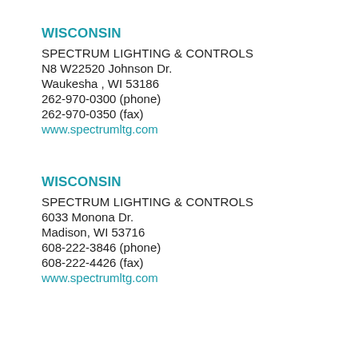WISCONSIN
SPECTRUM LIGHTING & CONTROLS
N8 W22520 Johnson Dr.
Waukesha , WI 53186
262-970-0300 (phone)
262-970-0350 (fax)
www.spectrumltg.com
WISCONSIN
SPECTRUM LIGHTING & CONTROLS
6033 Monona Dr.
Madison, WI 53716
608-222-3846 (phone)
608-222-4426 (fax)
www.spectrumltg.com